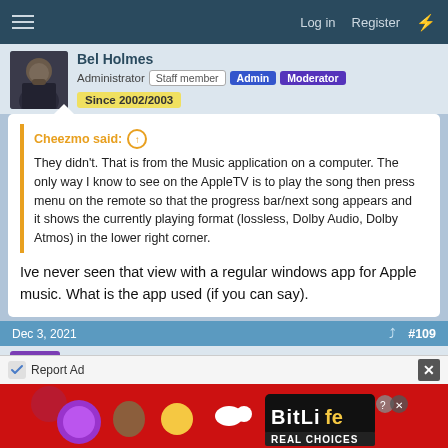Log in  Register
Administrator  Staff member  Admin  Moderator  Since 2002/2003
Cheezmo said: ↑ They didn't. That is from the Music application on a computer. The only way I know to see on the AppleTV is to play the song then press menu on the remote so that the progress bar/next song appears and it shows the currently playing format (lossless, Dolby Audio, Dolby Atmos) in the lower right corner.
Ive never seen that view with a regular windows app for Apple music. What is the app used (if you can say).
Dec 3, 2021  #109
Cheezmo
Report Ad